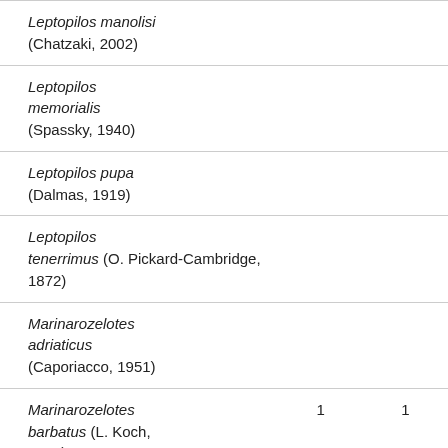| Leptopilos manolisi (Chatzaki, 2002) |  |  |
| Leptopilos memorialis (Spassky, 1940) |  |  |
| Leptopilos pupa (Dalmas, 1919) |  |  |
| Leptopilos tenerrimus (O. Pickard-Cambridge, 1872) |  |  |
| Marinarozelotes adriaticus (Caporiacco, 1951) |  |  |
| Marinarozelotes barbatus (L. Koch, 1866) | 1 | 1 |